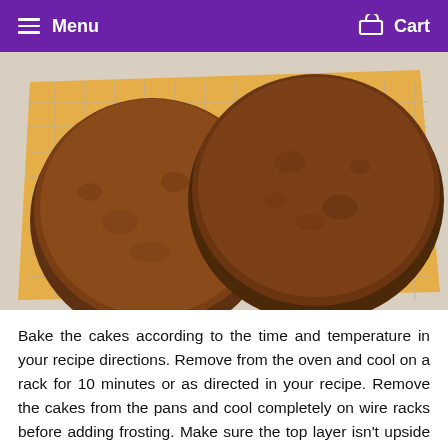Menu  Cart
[Figure (photo): Two round chocolate cake layers cooling on a wire rack placed over parchment paper on a white wooden surface, viewed from above.]
Bake the cakes according to the time and temperature in your recipe directions. Remove from the oven and cool on a rack for 10 minutes or as directed in your recipe. Remove the cakes from the pans and cool completely on wire racks before adding frosting. Make sure the top layer isn't upside down on the rack; otherwise, there will be grid lines on the top of the